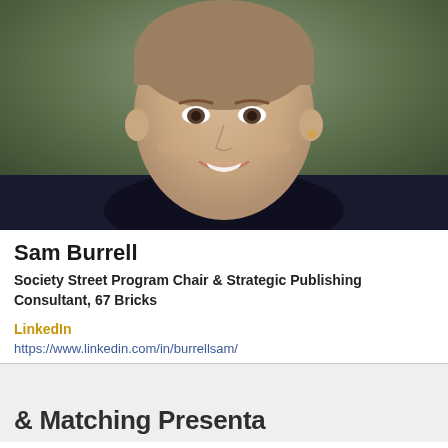[Figure (photo): Headshot of Sam Burrell, a woman smiling against a blurred outdoor background, wearing a dark top.]
Sam Burrell
Society Street Program Chair & Strategic Publishing Consultant, 67 Bricks
LinkedIn
https://www.linkedin.com/in/burrellsam/
& Matching Presentation